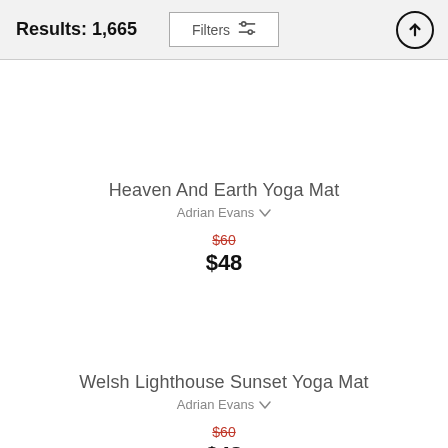Results: 1,665
Heaven And Earth Yoga Mat
Adrian Evans
$60
$48
Welsh Lighthouse Sunset Yoga Mat
Adrian Evans
$60
$48